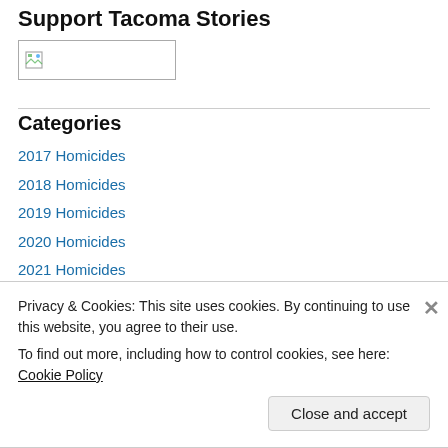Support Tacoma Stories
[Figure (illustration): Broken image placeholder with small icon inside a bordered box]
Categories
2017 Homicides
2018 Homicides
2019 Homicides
2020 Homicides
2021 Homicides
5 Question Fridays
Privacy & Cookies: This site uses cookies. By continuing to use this website, you agree to their use.
To find out more, including how to control cookies, see here: Cookie Policy
Close and accept